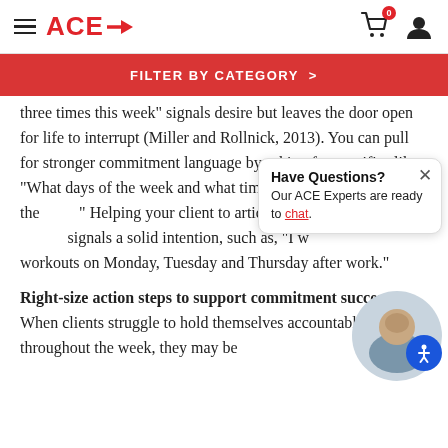ACE → [navigation header with cart and user icons]
FILTER BY CATEGORY >
three times this week" signals desire but leaves the door open for life to interrupt (Miller and Rollnick, 2013). You can pull for stronger commitment language by asking for specifics like "What days of the week and what time of day will you go to the [gym?]" Helping your client to articulate his or her pl[an more clearly] signals a solid intention, such as, "I w[ill do my] workouts on Monday, Tuesday and Thursday after work."
Right-size action steps to support commitment success. When clients struggle to hold themselves accountable throughout the week, they may be